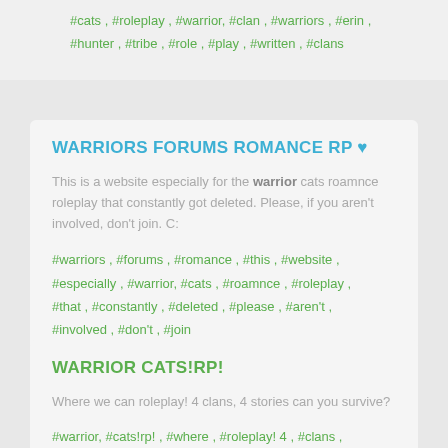#cats , #roleplay , #warrior, #clan , #warriors , #erin , #hunter , #tribe , #role , #play , #written , #clans
WARRIORS FORUMS ROMANCE RP ♥
This is a website especially for the warrior cats roamnce roleplay that constantly got deleted. Please, if you aren't involved, don't join. C:
#warriors , #forums , #romance , #this , #website , #especially , #warrior, #cats , #roamnce , #roleplay , #that , #constantly , #deleted , #please , #aren't , #involved , #don't , #join
WARRIOR CATS!RP!
Where we can roleplay! 4 clans, 4 stories can you survive?
#warrior, #cats!rp! , #where , #roleplay! 4 , #clans ,